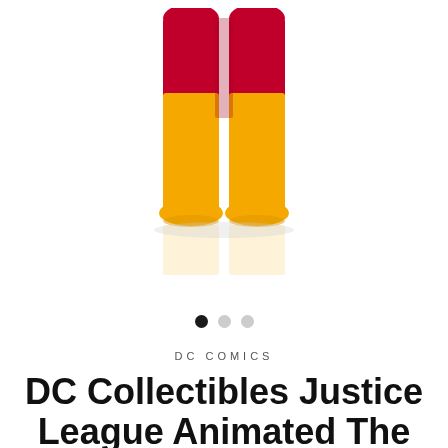[Figure (photo): Lower half of a DC Comics The Flash action figure, showing red thighs and yellow boots/lower legs, photographed on a white background with a subtle reflection beneath.]
DC COMICS
DC Collectibles Justice League Animated The Flash Action Figure